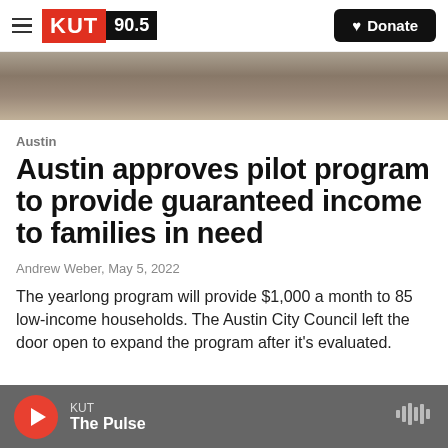KUT 90.5 — Donate
[Figure (photo): Partial view of a building roof structure, appears to be a news article hero image]
Austin
Austin approves pilot program to provide guaranteed income to families in need
Andrew Weber, May 5, 2022
The yearlong program will provide $1,000 a month to 85 low-income households. The Austin City Council left the door open to expand the program after it's evaluated.
KUT — The Pulse (audio player)